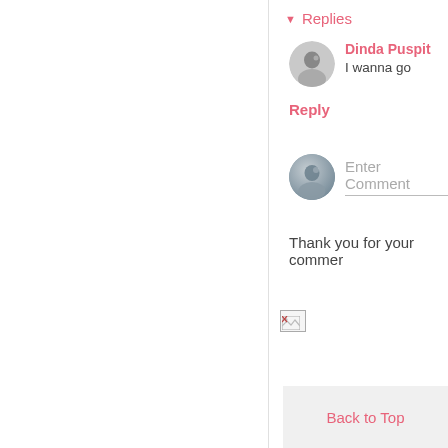Replies
Dinda Puspit
I wanna go
Reply
Enter Comment
Thank you for your commer
Back to Top